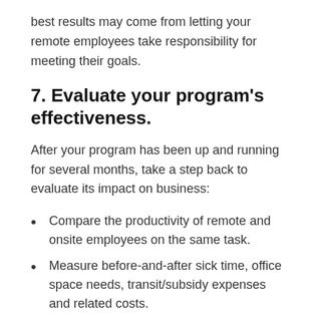best results may come from letting your remote employees take responsibility for meeting their goals.
7. Evaluate your program's effectiveness.
After your program has been up and running for several months, take a step back to evaluate its impact on business:
Compare the productivity of remote and onsite employees on the same task.
Measure before-and-after sick time, office space needs, transit/subsidy expenses and related costs.
Gather feedback through employee interviews or surveys.